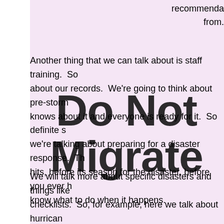from.
Another thing that we can talk about is staff training.  So about our records.  We're going to think about pre-storm knows about it and everyone is ready for it.  So definite s we're talking about preparing for a disaster response.  Th hits, before its season for the disaster, before you ever h know what to do when it happens.
We will talk more about specific disasters and things like checklists.  So, for example, here we talk about hurrican done when it's that time of year.  If you're in an area of th when it's the thaw season after winter, these are things t available?  What tools are going to be needed?  Maybe i clearing the roadways to get into the cemetery originally